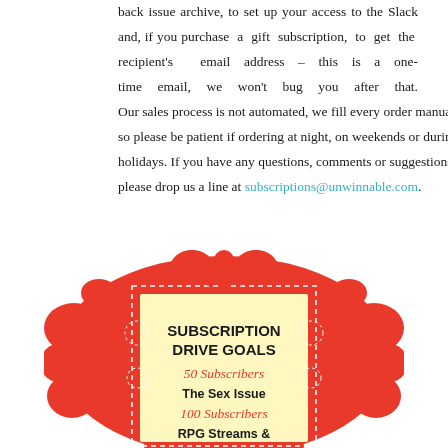back issue archive, to set up your access to the Slack and, if you purchase a gift subscription, to get the recipient's email address – this is a one-time email, we won't bug you after that. Our sales process is not automated, we fill every order manually, so please be patient if ordering at night, on weekends or during holidays. If you have any questions, comments or suggestions, please drop us a line at subscriptions@unwinnable.com.
[Figure (illustration): Decorative red frame with swirling ornamental design containing text: SUBSCRIPTION DRIVE GOALS, 50 Subscribers, The Sex Issue, 100 Subscribers, RPG Streams &]